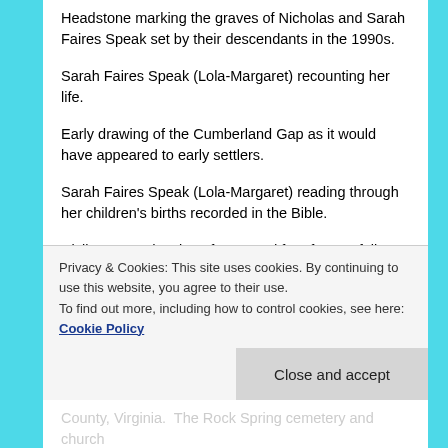Headstone marking the graves of Nicholas and Sarah Faires Speak set by their descendants in the 1990s.
Sarah Faires Speak (Lola-Margaret) recounting her life.
Early drawing of the Cumberland Gap as it would have appeared to early settlers.
Sarah Faires Speak (Lola-Margaret) reading through her children's births recorded in the Bible.
Civil War era drawing of a second fort, fort Norfolk, still in existence today and located in front of Fort Barbour in Norfolk Virginia.  Nicholas was stationed at and dismissed
Privacy & Cookies: This site uses cookies. By continuing to use this website, you agree to their use.
To find out more, including how to control cookies, see here: Cookie Policy
Close and accept
County, Virginia.  The Rock Spring cemetery and church